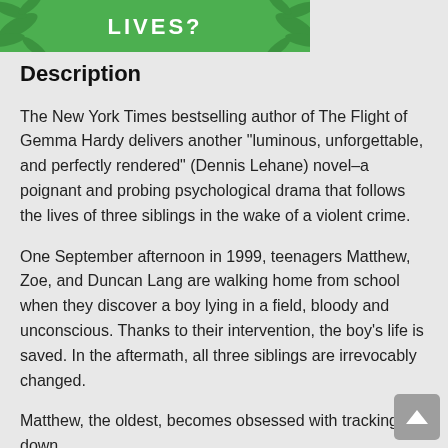[Figure (illustration): Green banner with white text 'LIVES?' and leaf/palm decorations]
Description
The New York Times bestselling author of The Flight of Gemma Hardy delivers another "luminous, unforgettable, and perfectly rendered" (Dennis Lehane) novel–a poignant and probing psychological drama that follows the lives of three siblings in the wake of a violent crime.
One September afternoon in 1999, teenagers Matthew, Zoe, and Duncan Lang are walking home from school when they discover a boy lying in a field, bloody and unconscious. Thanks to their intervention, the boy's life is saved. In the aftermath, all three siblings are irrevocably changed.
Matthew, the oldest, becomes obsessed with tracking down